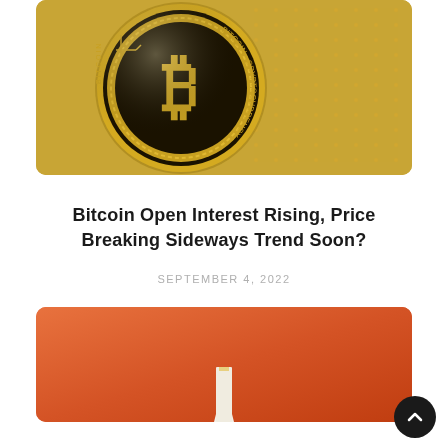[Figure (photo): Close-up photo of a gold Bitcoin coin with a 'B' symbol and 'CRYPTOCURRENCY' text around the edge, on a textured golden background]
Bitcoin Open Interest Rising, Price Breaking Sideways Trend Soon?
SEPTEMBER 4, 2022
[Figure (photo): Orange/red gradient background image with a white and orange pencil tip visible at the bottom center, partially cut off]